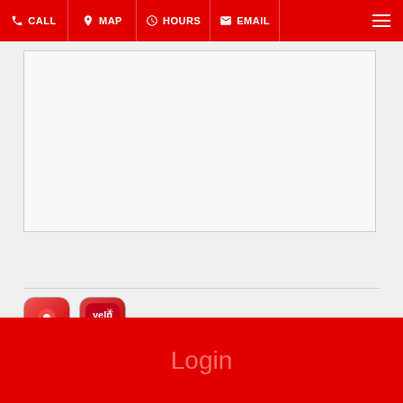CALL | MAP | HOURS | EMAIL
[Figure (other): Empty bordered content box with light gray background]
[Figure (other): Google Maps pin icon - red rounded square app icon]
[Figure (other): Yelp app icon - red rounded square with Yelp logo and asterisk]
Copyright ©2022 Apex Motorwerks. All Rights Reserved.
Designed by 1 Fine Design
Login